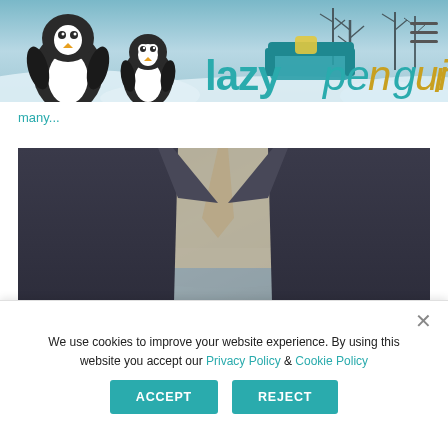[Figure (screenshot): Lazy Penguins website header banner with two cartoon penguins, a teal sofa, winter background trees and snow, and the website logo text 'lazy penguins' in teal and yellow colors. Hamburger menu icon in top right.]
many...
[Figure (photo): Blurred photo of a person in a dark business suit holding a pen, appearing to sign or write a document. Only torso and hand visible.]
We use cookies to improve your website experience. By using this website you accept our Privacy Policy & Cookie Policy
ACCEPT
REJECT